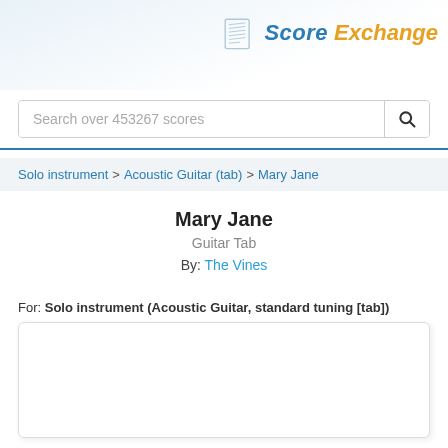[Figure (logo): Score Exchange logo with music sheet icon, 'Score' in blue italic and 'Exchange' in orange italic]
Search over 453267 scores
Solo instrument > Acoustic Guitar (tab) > Mary Jane
Mary Jane
Guitar Tab
By: The Vines
For: Solo instrument (Acoustic Guitar, standard tuning [tab])
[Figure (other): White empty score preview box with rounded corners and light shadow]